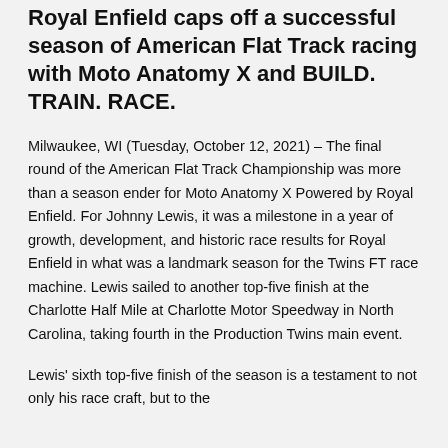Royal Enfield caps off a successful season of American Flat Track racing with Moto Anatomy X and BUILD. TRAIN. RACE.
Milwaukee, WI (Tuesday, October 12, 2021) – The final round of the American Flat Track Championship was more than a season ender for Moto Anatomy X Powered by Royal Enfield. For Johnny Lewis, it was a milestone in a year of growth, development, and historic race results for Royal Enfield in what was a landmark season for the Twins FT race machine. Lewis sailed to another top-five finish at the Charlotte Half Mile at Charlotte Motor Speedway in North Carolina, taking fourth in the Production Twins main event.
Lewis' sixth top-five finish of the season is a testament to not only his race craft, but to the